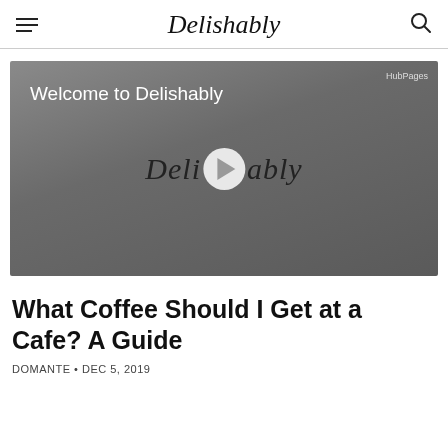Delishably
[Figure (screenshot): Video player showing 'Welcome to Delishably' with Delishably script logo and play button in center, HubPages watermark top right, gray background]
What Coffee Should I Get at a Cafe? A Guide
DOMANTE • DEC 5, 2019